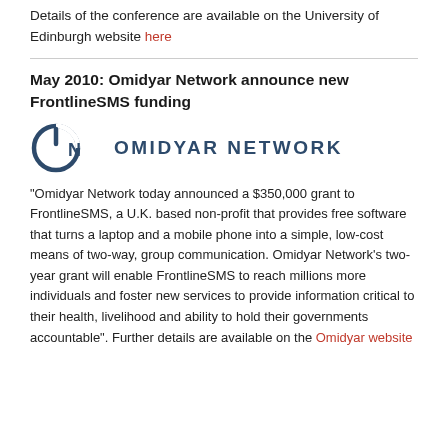Details of the conference are available on the University of Edinburgh website here
May 2010: Omidyar Network announce new FrontlineSMS funding
[Figure (logo): Omidyar Network logo — power symbol circle icon with 'ON' letters and 'OMIDYAR NETWORK' text in dark blue]
“Omidyar Network today announced a $350,000 grant to FrontlineSMS, a U.K. based non-profit that provides free software that turns a laptop and a mobile phone into a simple, low-cost means of two-way, group communication. Omidyar Network’s two-year grant will enable FrontlineSMS to reach millions more individuals and foster new services to provide information critical to their health, livelihood and ability to hold their governments accountable”. Further details are available on the Omidyar website